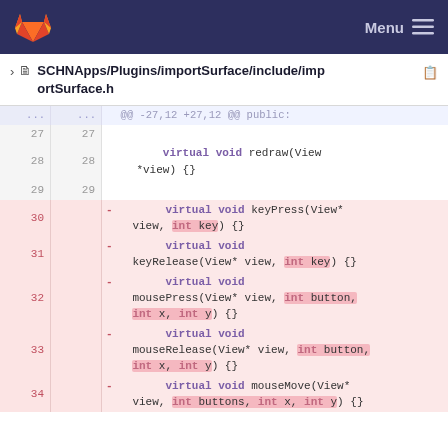Menu
SCHNApps/Plugins/importSurface/include/importSurface.h
[Figure (screenshot): Git diff view showing C++ code changes to importSurface.h. Lines 27-29 are unchanged (normal). Lines 30-34 are deleted (red background), showing removal of virtual void keyPress, keyRelease, mousePress, mouseRelease, and mouseMove methods with int parameters highlighted inline.]